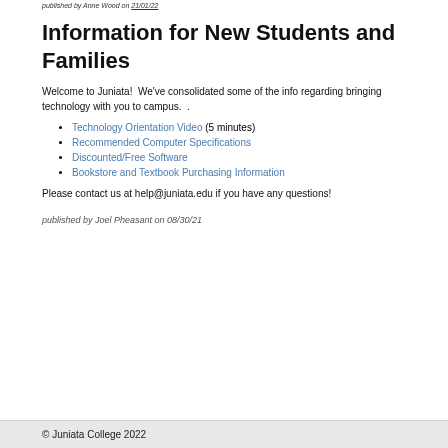published by Anne Wood on 21/01/22
Information for New Students and Families
Welcome to Juniata!  We've consolidated some of the info regarding bringing technology with you to campus.  .
Technology Orientation Video (5 minutes)
Recommended Computer Specifications
Discounted/Free Software
Bookstore and Textbook Purchasing Information
Please contact us at help@juniata.edu if you have any questions!
published by Joel Pheasant on 08/30/21
© Juniata College 2022